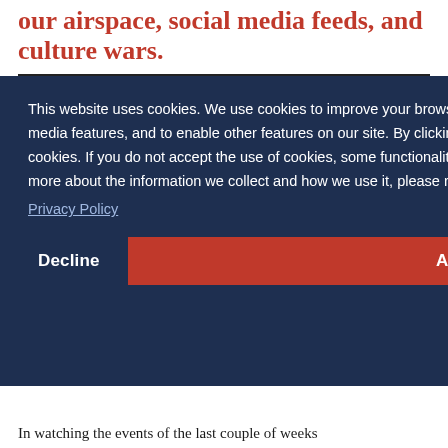our airspace, social media feeds, and culture wars.
This website uses cookies. We use cookies to improve your browsing experience, personalize content, provide social media features, and to enable other features on our site. By clicking “Accept” on this banner, you consent to our use of cookies. If you do not accept the use of cookies, some functionalities of our site may be disabled or not work. To learn more about the information we collect and how we use it, please review our Privacy Policy
Decline
Accept
In watching the events of the last couple of weeks